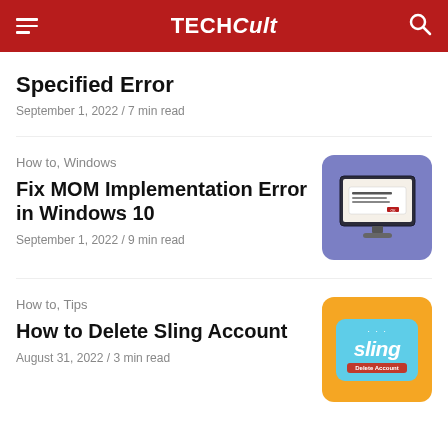TECHCult
Specified Error
September 1, 2022 / 7 min read
How to, Windows
Fix MOM Implementation Error in Windows 10
September 1, 2022 / 9 min read
[Figure (illustration): Purple/blue background with a desktop monitor showing an error dialog box]
How to, Tips
How to Delete Sling Account
August 31, 2022 / 3 min read
[Figure (illustration): Orange background with Sling logo on a light blue rounded rectangle card, with a Delete Account red button below the logo]